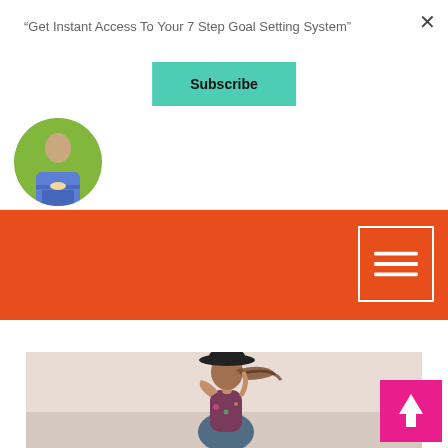"Get Instant Access To Your 7 Step Goal Setting System"
[Figure (other): Subscribe button (teal/green background with bold black text 'Subscribe')]
[Figure (photo): Circular cropped photo of a person standing outdoors on green grass]
[Figure (other): Orange-red navigation bar with hamburger menu icon (white outlined square with three horizontal white lines)]
[Figure (photo): Photo of a woman from behind wearing a dark wide-brimmed hat, holding it in wind, wearing a floral outfit near water]
[Figure (other): Pink/magenta scroll-to-top button with white upward arrow]